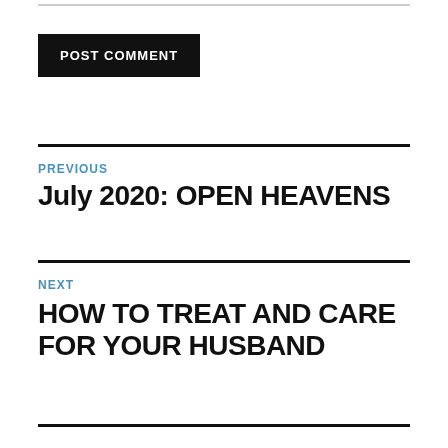POST COMMENT
PREVIOUS
July 2020: OPEN HEAVENS
NEXT
HOW TO TREAT AND CARE FOR YOUR HUSBAND